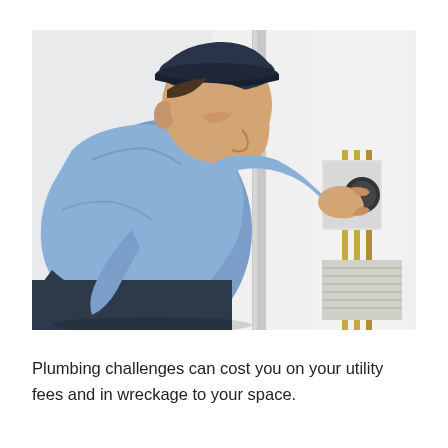[Figure (photo): A plumber or technician wearing a blue shirt and dark cap, crouching down and adjusting a dial or valve on a white water heater tank. The background shows a light-colored wall and plumbing pipes.]
Plumbing challenges can cost you on your utility fees and in wreckage to your space.